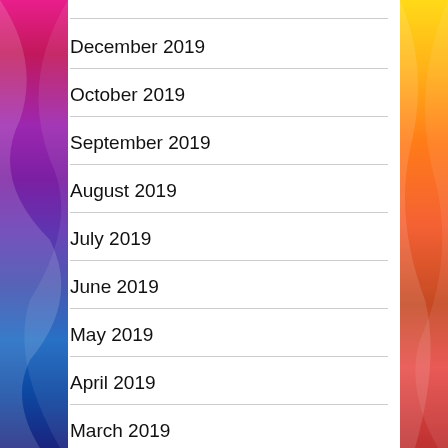December 2019
October 2019
September 2019
August 2019
July 2019
June 2019
May 2019
April 2019
March 2019
January 2019